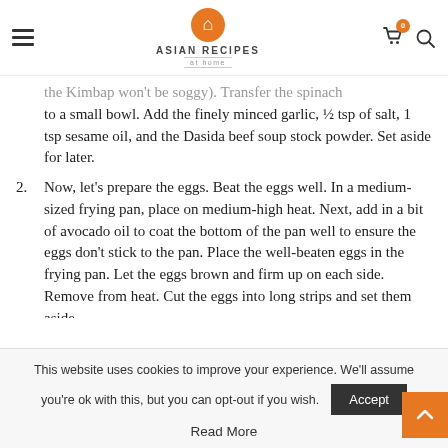ASIAN RECIPES at home — navigation header
the Kimbap won't be soggy). Transfer the spinach to a small bowl. Add the finely minced garlic, ½ tsp of salt, 1 tsp sesame oil, and the Dasida beef soup stock powder. Set aside for later.
2. Now, let's prepare the eggs. Beat the eggs well. In a medium-sized frying pan, place on medium-high heat. Next, add in a bit of avocado oil to coat the bottom of the pan well to ensure the eggs don't stick to the pan. Place the well-beaten eggs in the frying pan. Let the eggs brown and firm up on each side. Remove from heat. Cut the eggs into long strips and set them aside.
3. Next, we'll stir fry the Spam strips. Place a bit more oil in the frying pan that you used to cook
This website uses cookies to improve your experience. We'll assume you're ok with this, but you can opt-out if you wish. Accept Read More